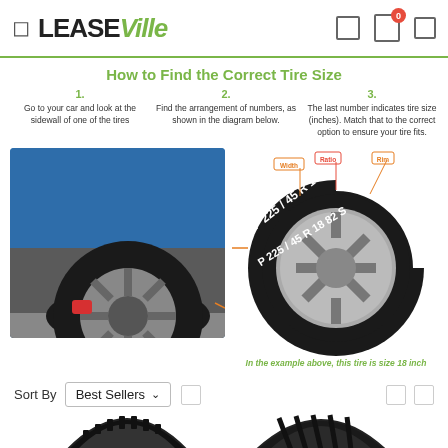LEASEVille
How to Find the Correct Tire Size
1. Go to your car and look at the sidewall of one of the tires
2. Find the arrangement of numbers, as shown in the diagram below.
3. The last number indicates tire size (inches). Match that to the correct option to ensure your tire fits.
[Figure (photo): Blue car with visible tire and wheel on left side]
[Figure (infographic): Close-up of tire sidewall showing P 225 / 45 R 18 82 S with labeled callouts: Width, Ratio, Rim]
In the example above, this tire is size 18 inch
Sort By  Best Sellers
[Figure (photo): Black winter tire (partial, top half visible)]
[Figure (photo): Black performance tire (partial, top half visible)]